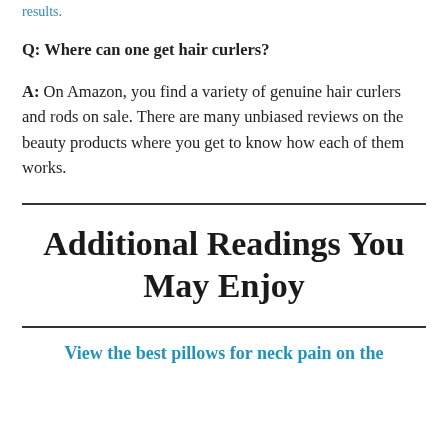results.
Q: Where can one get hair curlers?
A: On Amazon, you find a variety of genuine hair curlers and rods on sale. There are many unbiased reviews on the beauty products where you get to know how each of them works.
Additional Readings You May Enjoy
View the best pillows for neck pain on the